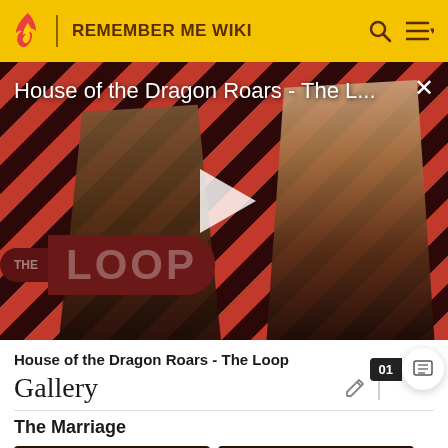REMEMBER ME WIKI
[Figure (screenshot): Video player showing 'House of the Dragon Roars - The L...' with a play button overlay on a diagonal red and dark striped background. Two characters visible: armored figure on left, woman with blonde hair on right. 'THE LOOP' branding visible in lower left. Close X button top right.]
House of the Dragon Roars - The Loop
Gallery
The Marriage